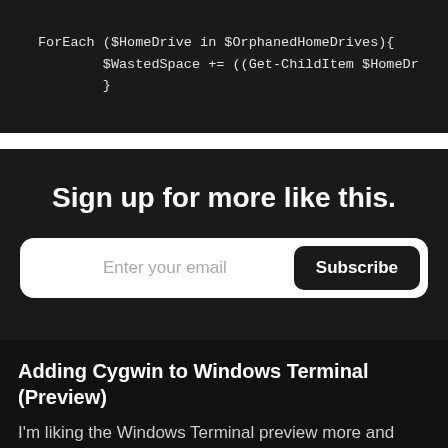[Figure (screenshot): Dark-themed code block showing PowerShell script: ForEach ($HomeDrive in $OrphanedHomeDrives){ $WastedSpace += ((Get-ChildItem $HomeDr... }]
Sign up for more like this.
Enter your email [Subscribe button]
Adding Cygwin to Windows Terminal (Preview)
I'm liking the Windows Terminal preview more and more, especially now that it doesn't crash every time I close it without